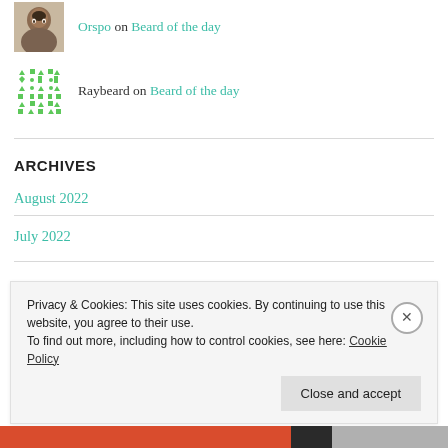Orspo on Beard of the day
Raybeard on Beard of the day
ARCHIVES
August 2022
July 2022
Privacy & Cookies: This site uses cookies. By continuing to use this website, you agree to their use.
To find out more, including how to control cookies, see here: Cookie Policy
Close and accept